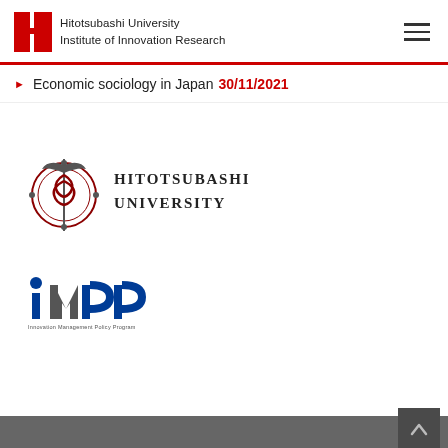Hitotsubashi University Institute of Innovation Research
Economic sociology in Japan 30/11/2021
[Figure (logo): Hitotsubashi University crest logo with caduceus and decorative circular design in red/dark, alongside text HITOTSUBASHI UNIVERSITY in spaced capitals]
[Figure (logo): iMPP logo — Innovation Management Policy Program — with blue stylized text and tagline below]